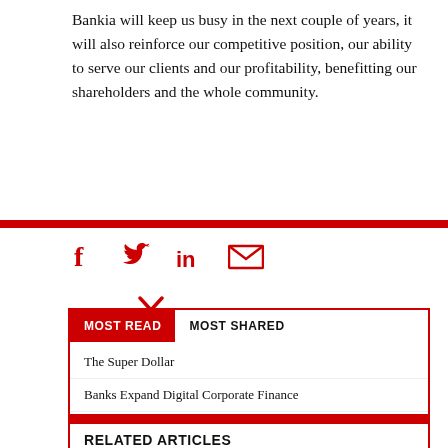Bankia will keep us busy in the next couple of years, it will also reinforce our competitive position, our ability to serve our clients and our profitability, benefitting our shareholders and the whole community.
[Figure (infographic): Social sharing icons: Facebook, Twitter, LinkedIn, Email — all in red]
MOST READ | MOST SHARED
The Super Dollar
Banks Expand Digital Corporate Finance
Unbowed By Sanctions, Russia Claims No-Fault Default
Globalization's New Puzzle
RELATED ARTICLES